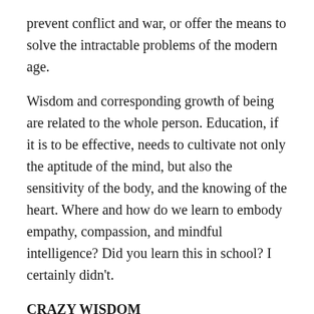prevent conflict and war, or offer the means to solve the intractable problems of the modern age.
Wisdom and corresponding growth of being are related to the whole person. Education, if it is to be effective, needs to cultivate not only the aptitude of the mind, but also the sensitivity of the body, and the knowing of the heart. Where and how do we learn to embody empathy, compassion, and mindful intelligence? Did you learn this in school? I certainly didn't.
CRAZY WISDOM
In my youth, I detested school. I wanted to have fun learning, to cultivate my passion and curiosity, and to engage my creativity. But school as I knew it was boring and listless, smothering the creative fire of learning and